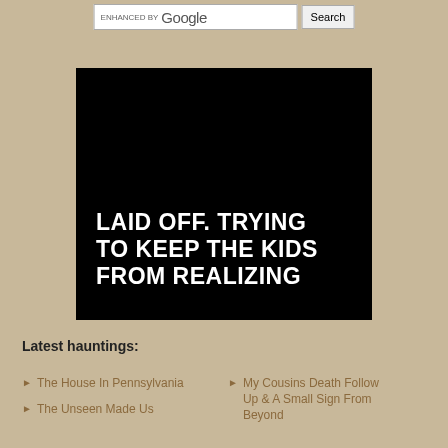[Figure (screenshot): Google search bar with 'ENHANCED BY Google' text and a Search button]
[Figure (photo): Black image with bold white uppercase text reading: LAID OFF. TRYING TO KEEP THE KIDS FROM REALIZING]
Latest hauntings:
The House In Pennsylvania
The Unseen Made Us
My Cousins Death Follow Up & A Small Sign From Beyond